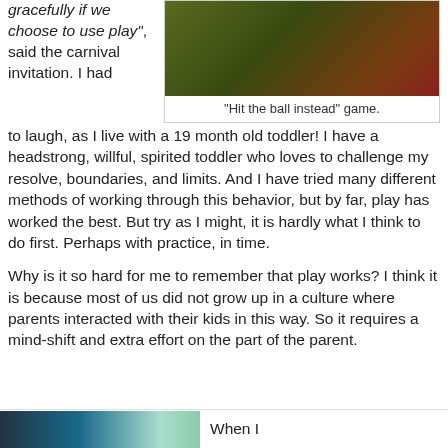gracefully if we choose to use play", said the carnival invitation. I had to laugh, as I live with a 19 month old toddler! I have a headstrong, willful, spirited toddler who loves to challenge my resolve, boundaries, and limits. And I have tried many different methods of working through this behavior, but by far, play has worked the best. But try as I might, it is hardly what I think to do first. Perhaps with practice, in time.
[Figure (photo): A photo showing colorful balloons or balls with ladybug patterns in green, red and dark colors]
"Hit the ball instead" game.
Why is it so hard for me to remember that play works? I think it is because most of us did not grow up in a culture where parents interacted with their kids in this way. So it requires a mind-shift and extra effort on the part of the parent.
[Figure (photo): A partial image at the bottom of the page showing a colorful scene]
When I